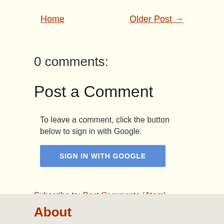Home    Older Post →
0 comments:
Post a Comment
To leave a comment, click the button below to sign in with Google.
[Figure (other): Blue button labeled SIGN IN WITH GOOGLE]
Subscribe to: Post Comments (Atom)
About